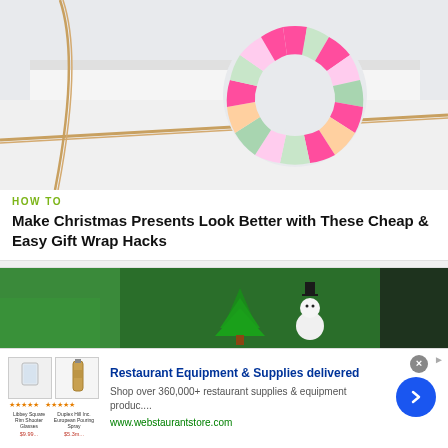[Figure (photo): A colorful paper wreath made from paint chip cards in pink, mint green, peach, and lavender colors, arranged in a circular pattern on top of a white gift box with a tan ribbon]
HOW TO
Make Christmas Presents Look Better with These Cheap & Easy Gift Wrap Hacks
[Figure (photo): A green background scene with a small green Christmas tree and a snowman figurine with a black top hat]
[Figure (photo): Advertisement banner: Restaurant Equipment & Supplies delivered. Shop over 360,000+ restaurant supplies & equipment produc.... www.webstaurantstore.com]